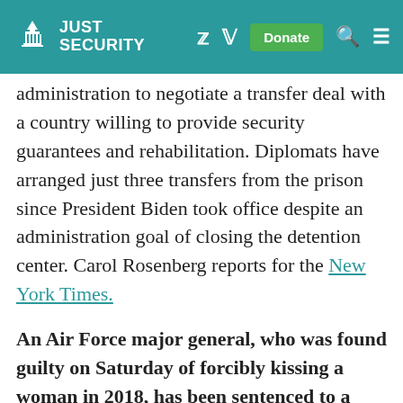JUST SECURITY
administration to negotiate a transfer deal with a country willing to provide security guarantees and rehabilitation. Diplomats have arranged just three transfers from the prison since President Biden took office despite an administration goal of closing the detention center. Carol Rosenberg reports for the New York Times.
An Air Force major general, who was found guilty on Saturday of forcibly kissing a woman in 2018, has been sentenced to a reprimand and docked pay for five months. Maj. Gen. William T. Cooley avoided more